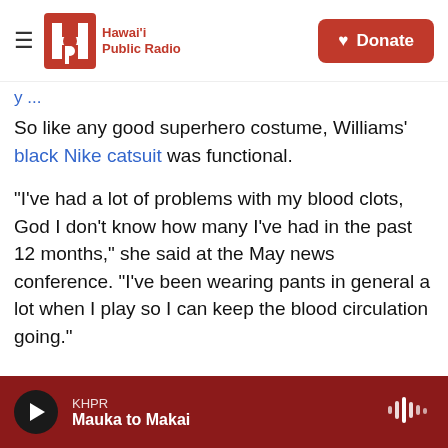Hawai'i Public Radio — Donate
So like any good superhero costume, Williams' black Nike catsuit was functional.
"I've had a lot of problems with my blood clots, God I don't know how many I've had in the past 12 months," she said at the May news conference. "I've been wearing pants in general a lot when I play so I can keep the blood circulation going."
But in an interview with Tennis magazine, French Tennis Federation President Bernard Giudicelli reportedly said the tournament would be
KHPR — Mauka to Makai